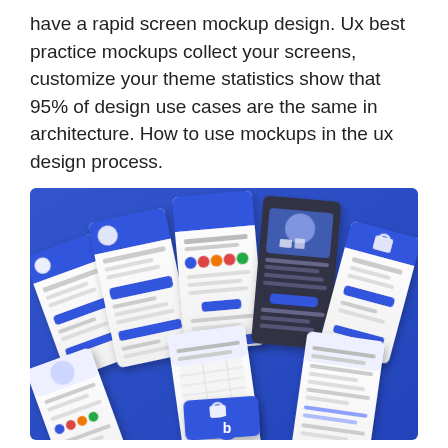have a rapid screen mockup design. Ux best practice mockups collect your screens, customize your theme statistics show that 95% of design use cases are the same in architecture. How to use mockups in the ux design process.
[Figure (screenshot): A collection of mobile app UI mockup screens displayed on a blue gradient background, showing login screens, social sharing screens, and product/tech illustration screens arranged in an overlapping, angled layout.]